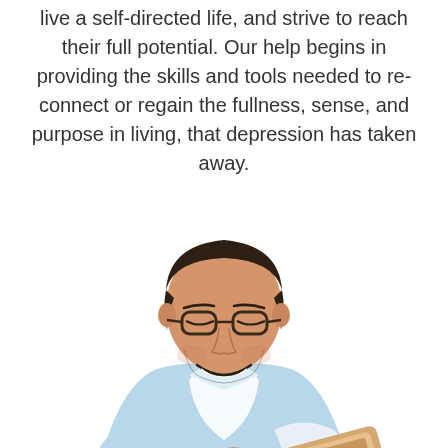live a self-directed life, and strive to reach their full potential. Our help begins in providing the skills and tools needed to re-connect or regain the fullness, sense, and purpose in living, that depression has taken away.
[Figure (photo): A smiling man with dark hair and glasses wearing a light blue/white dress shirt, looking down and smiling at a tablet he is holding.]